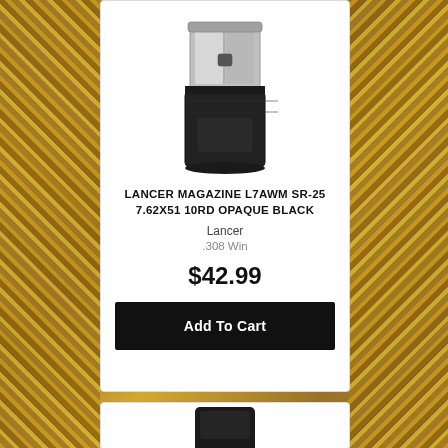[Figure (photo): Lancer L7AWM SR-25 magazine, black polymer body with silver/steel top, shown upright on white background]
LANCER MAGAZINE L7AWM SR-25 7.62X51 10RD OPAQUE BLACK
Lancer
.308 Win
$42.99
Add To Cart
[Figure (photo): Partial view of another firearm magazine at bottom of page, black, cropped]